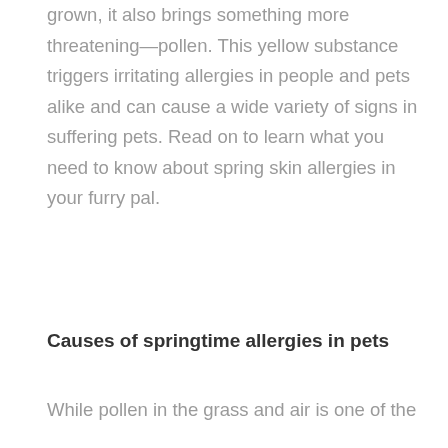grown, it also brings something more threatening—pollen. This yellow substance triggers irritating allergies in people and pets alike and can cause a wide variety of signs in suffering pets. Read on to learn what you need to know about spring skin allergies in your furry pal.
Causes of springtime allergies in pets
While pollen in the grass and air is one of the